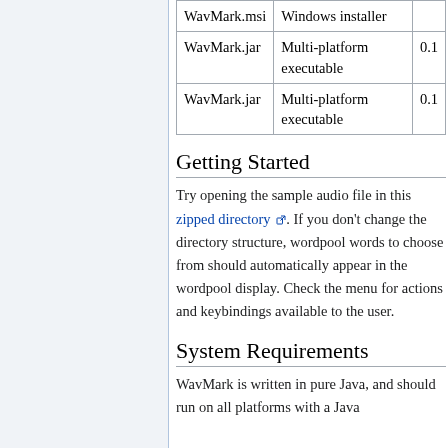|  |  |  |
| --- | --- | --- |
| WavMark.msi | Windows installer |  |
| WavMark.jar | Multi-platform executable | 0.1 |
| WavMark.jar | Multi-platform executable | 0.1 |
Getting Started
Try opening the sample audio file in this zipped directory. If you don't change the directory structure, wordpool words to choose from should automatically appear in the wordpool display. Check the menu for actions and keybindings available to the user.
System Requirements
WavMark is written in pure Java, and should run on all platforms with a Java